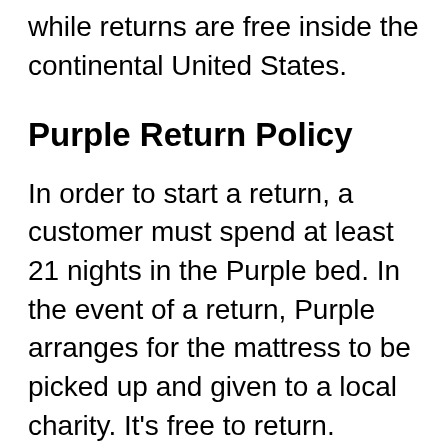while returns are free inside the continental United States.
Purple Return Policy
In order to start a return, a customer must spend at least 21 nights in the Purple bed. In the event of a return, Purple arranges for the mattress to be picked up and given to a local charity. It's free to return.
Warranties
In the event of a fault, the mattress is covered by a warranty. Mattresses that are damaged can typically be repaired or